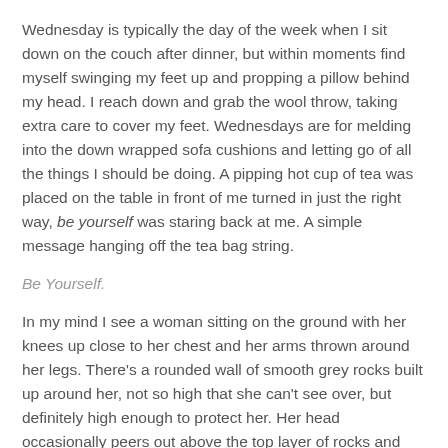Wednesday is typically the day of the week when I sit down on the couch after dinner, but within moments find myself swinging my feet up and propping a pillow behind my head. I reach down and grab the wool throw, taking extra care to cover my feet. Wednesdays are for melding into the down wrapped sofa cushions and letting go of all the things I should be doing. A pipping hot cup of tea was placed on the table in front of me turned in just the right way, be yourself was staring back at me. A simple message hanging off the tea bag string.
Be Yourself.
In my mind I see a woman sitting on the ground with her knees up close to her chest and her arms thrown around her legs. There's a rounded wall of smooth grey rocks built up around her, not so high that she can't see over, but definitely high enough to protect her. Her head occasionally peers out above the top layer of rocks and sometimes when she sees